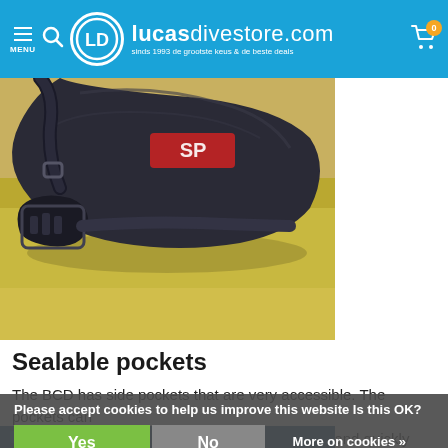lucasdivestore.com - sinds 1993 de grootste keus & de beste deals
[Figure (photo): Close-up photo of a BCD (Buoyancy Control Device) diving equipment showing dark neoprene material with straps, buckle clip, and SP branding label, placed on a yellow/gold surface]
Sealable pockets
The BCD has side pockets that are very accessible. The pockets can be closed with a zipper. This way you can easily and quickly store your be...
Please accept cookies to help us improve this website Is this OK?
Yes   No   More on cookies »